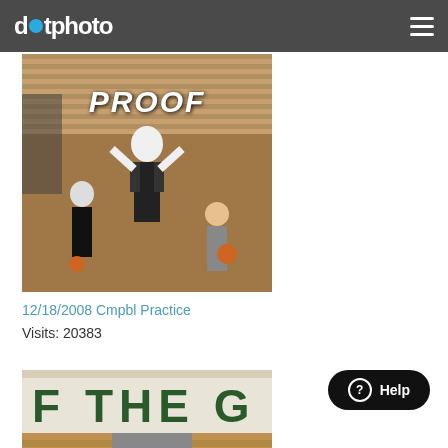dotphoto
[Figure (photo): Basketball practice photo with PROOF watermark overlay. Players visible in gym.]
12/18/2008 Cmpbl Practice
Visits: 20383
[Figure (photo): Second basketball gym photo with PROOF watermark. Gym banner letters 'F THE G' visible. Players in green uniforms.]
Help